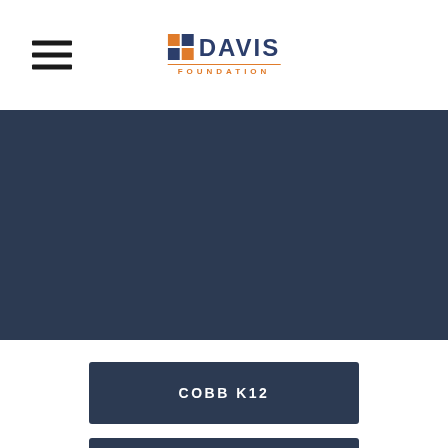[Figure (logo): ND Davis Foundation logo with hamburger menu icon on the left]
[Figure (photo): Dark navy blue banner/hero image area]
COBB K12
DAVIS PTA